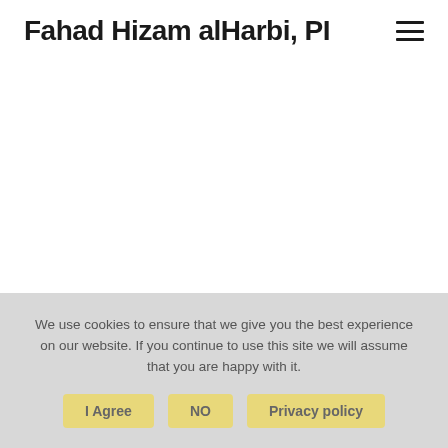Fahad Hizam alHarbi, PI
We use cookies to ensure that we give you the best experience on our website. If you continue to use this site we will assume that you are happy with it.
I Agree   NO   Privacy policy